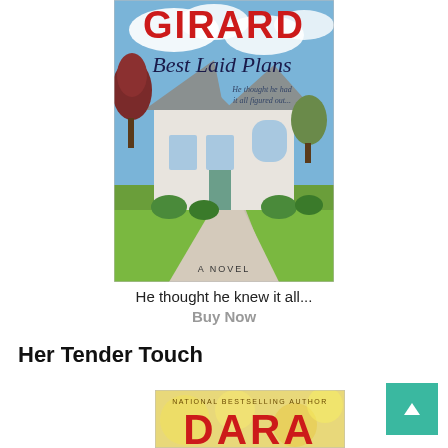[Figure (illustration): Book cover for 'Best Laid Plans' by Girard. Shows a large suburban house with a curved driveway, trees, blue sky with clouds. Red text at top reads 'GIRARD', script text 'Best Laid Plans', italic tagline 'He thought he had it all figured out...', and at bottom 'A NOVEL'.]
He thought he knew it all...
Buy Now
Her Tender Touch
[Figure (illustration): Partial book cover for a novel by Dara, labeled 'NATIONAL BESTSELLING AUTHOR' at top. Large red letters 'DARA' visible at bottom with a warm yellow bokeh background.]